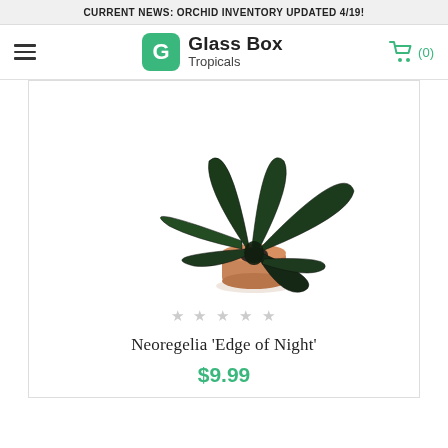CURRENT NEWS: ORCHID INVENTORY UPDATED 4/19!
[Figure (logo): Glass Box Tropicals logo with green rounded square icon containing a stylized G leaf, brand name 'Glass Box' in bold and 'Tropicals' below]
[Figure (photo): Overhead view of a Neoregelia 'Edge of Night' plant with dark green/near-black leaves spreading outward, planted in a small terracotta pot, on a white background]
Neoregelia 'Edge of Night'
$9.99